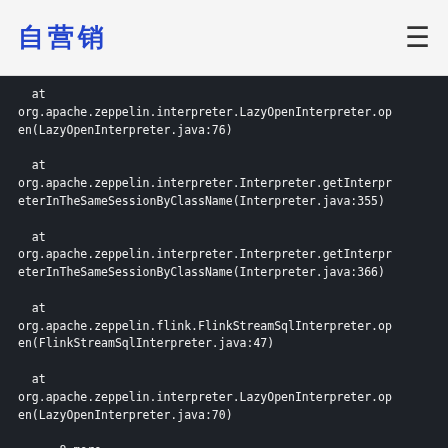自营销
at
org.apache.zeppelin.interpreter.LazyOpenInterpreter.open(LazyOpenInterpreter.java:76)

  at
org.apache.zeppelin.interpreter.Interpreter.getInterpreterInTheSameSessionByClassName(Interpreter.java:355)

  at
org.apache.zeppelin.interpreter.Interpreter.getInterpreterInTheSameSessionByClassName(Interpreter.java:366)

  at
org.apache.zeppelin.flink.FlinkStreamSqlInterpreter.open(FlinkStreamSqlInterpreter.java:47)

  at
org.apache.zeppelin.interpreter.LazyOpenInterpreter.open(LazyOpenInterpreter.java:70)

  ... 8 more

Caused by:
org.apache.flink.table.catalog.exceptions.CatalogException: Failed to create Hive Metastore client
  at
org.apache.flink.table.catalog.hive.client.HiveShimV230.getHiveMetastoreClient(HiveShimV230.java:52)